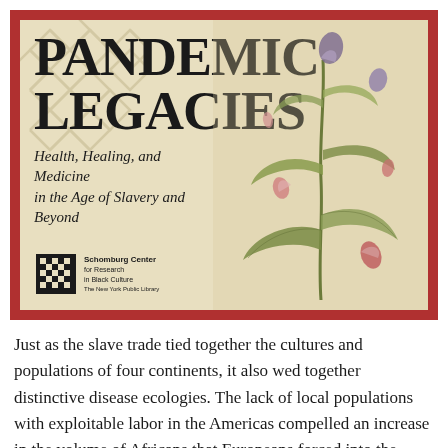[Figure (illustration): Banner image for 'Pandemic Legacies: Health, Healing, and Medicine in the Age of Slavery and Beyond' exhibition by the Schomburg Center for Research in Black Culture. Beige/tan background with geometric diamond pattern on the left, large bold title text, italic subtitle, Schomburg Center logo, and a botanical illustration of a plant with leaves and flowers on the right. Surrounded by a dark red border.]
Just as the slave trade tied together the cultures and populations of four continents, it also wed together distinctive disease ecologies. The lack of local populations with exploitable labor in the Americas compelled an increase in the volume of Africans that Europeans forced into the transatlantic slave trade, setting the stage